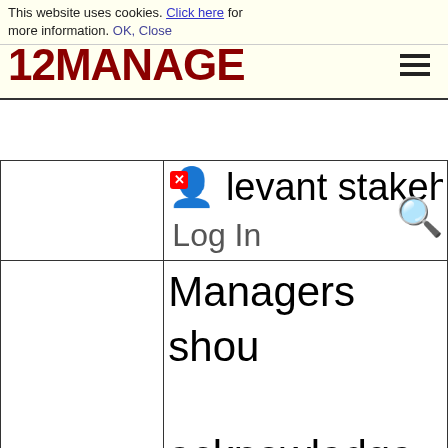This website uses cookies. Click here for more information. OK, Close
[Figure (logo): 12MANAGE logo in dark red/maroon with hamburger menu icon]
|  | relevant stakeholders (text cut off) / Log In overlay |
|  | Managers shou... acknowledge th... conflicts betwe... role as corpora... and (b) their leg... |